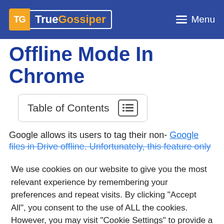TrueGossiper | Menu
Offline Mode In Chrome
Table of Contents
Google allows its users to tag their non- Google files in Drive offline. Unfortunately, this feature only
We use cookies on our website to give you the most relevant experience by remembering your preferences and repeat visits. By clicking "Accept All", you consent to the use of ALL the cookies. However, you may visit "Cookie Settings" to provide a controlled consent.
Cookie Settings | Accept All